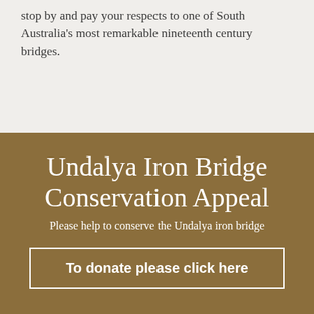stop by and pay your respects to one of South Australia's most remarkable nineteenth century bridges.
Undalya Iron Bridge Conservation Appeal
Please help to conserve the Undalya iron bridge
To donate please click here